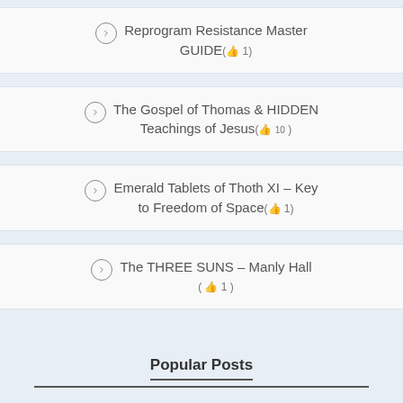Reprogram Resistance Master GUIDE (👍 1)
The Gospel of Thomas & HIDDEN Teachings of Jesus (👍 10)
Emerald Tablets of Thoth XI – Key to Freedom of Space (👍 1)
The THREE SUNS – Manly Hall (👍 1)
Popular Posts